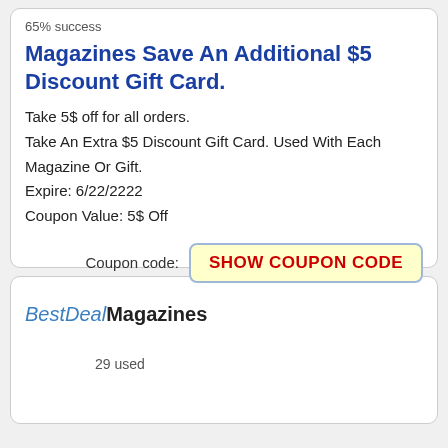65% success
Magazines Save An Additional $5 Discount Gift Card.
Take 5$ off for all orders.
Take An Extra $5 Discount Gift Card. Used With Each Magazine Or Gift.
Expire: 6/22/2222
Coupon Value: 5$ Off
Coupon code: SHOW COUPON CODE
BestDealMagazines
29 used